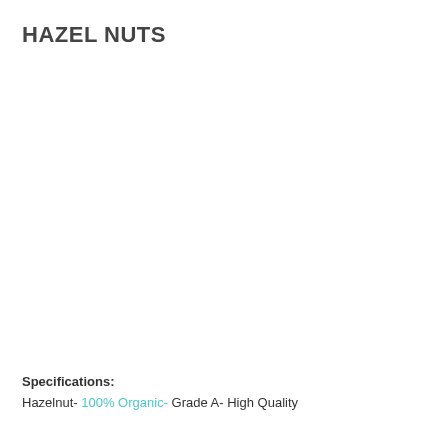HAZEL NUTS
Specifications: Hazelnut- 100% Organic- Grade A- High Quality